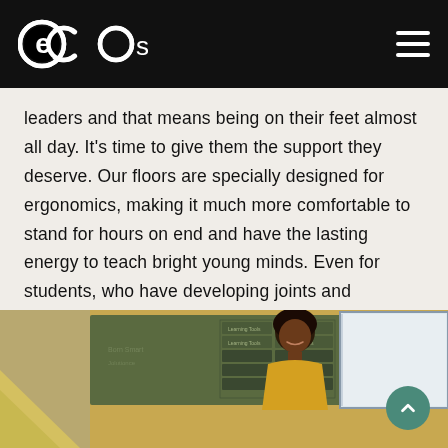eco surfaces
leaders and that means being on their feet almost all day. It’s time to give them the support they deserve. Our floors are specially designed for ergonomics, making it much more comfortable to stand for hours on end and have the lasting energy to teach bright young minds. Even for students, who have developing joints and muscles, the energy absorption and return is only good news.
[Figure (photo): A smiling teacher standing in a classroom in front of a chalkboard and a whiteboard, wearing a yellow top.]